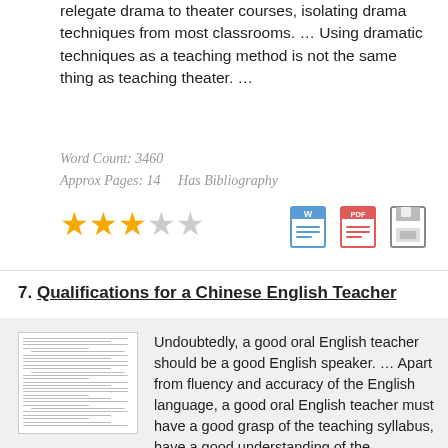relegate drama to theater courses, isolating drama techniques from most classrooms. … Using dramatic techniques as a teaching method is not the same thing as teaching theater. …
Word Count: 3460
Approx Pages: 14    Has Bibliography
[Figure (other): 3 filled gold stars and 2 empty stars rating (3/5), plus Word doc icon, PDF icon, and save/floppy disk icon]
7. Qualifications for a Chinese English Teacher
[Figure (other): Thumbnail image of a document page with small text lines]
Undoubtedly, a good oral English teacher should be a good English speaker. … Apart from fluency and accuracy of the English language, a good oral English teacher must have a good grasp of the teaching syllabus, have a good understanding of the